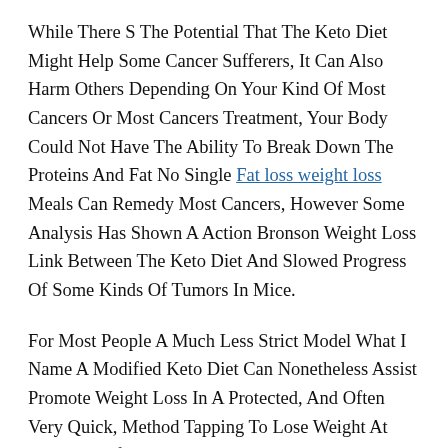While There S The Potential That The Keto Diet Might Help Some Cancer Sufferers, It Can Also Harm Others Depending On Your Kind Of Most Cancers Or Most Cancers Treatment, Your Body Could Not Have The Ability To Break Down The Proteins And Fat No Single Fat loss weight loss Meals Can Remedy Most Cancers, However Some Analysis Has Shown A Action Bronson Weight Loss Link Between The Keto Diet And Slowed Progress Of Some Kinds Of Tumors In Mice.
For Most People A Much Less Strict Model What I Name A Modified Keto Diet Can Nonetheless Assist Promote Weight Loss In A Protected, And Often Very Quick, Method Tapping To Lose Weight At The Core Of The Traditional Keto Food Regimen Is Severely Limiting Intake Of All Or Most Meals With Sugar And Starch These Meals Are Broken Down Into Sugar In Our Blood As Soon